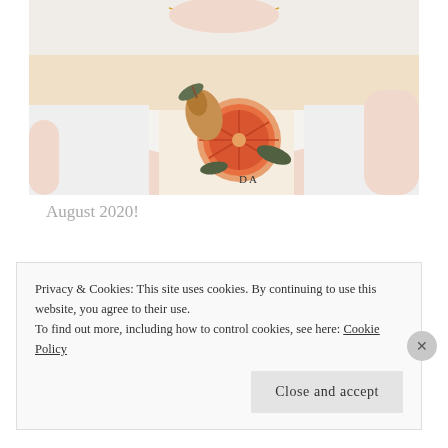[Figure (photo): A person sitting wearing a white t-shirt with a fruit (grapefruit/orange and pear) print design and a gold necklace, photographed from chest down to lap.]
August 2020!
Privacy & Cookies: This site uses cookies. By continuing to use this website, you agree to their use.
To find out more, including how to control cookies, see here: Cookie Policy
Close and accept